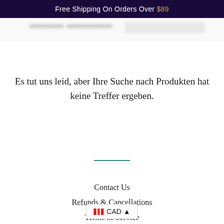Free Shipping On Orders Over $89
Es tut uns leid, aber Ihre Suche nach Produkten hat keine Treffer ergeben.
Contact Us
Refunds & Cancellations
Terms of Service
Privacy policy